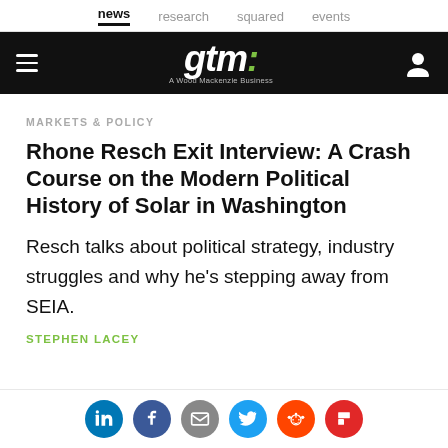news   research   squared   events
[Figure (logo): GTM (Greentech Media) logo — white italic bold 'gtm:' with green colon on black background, with tagline 'A Wood Mackenzie Business']
MARKETS & POLICY
Rhone Resch Exit Interview: A Crash Course on the Modern Political History of Solar in Washington
Resch talks about political strategy, industry struggles and why he's stepping away from SEIA.
STEPHEN LACEY
[Figure (infographic): Social share icons row: LinkedIn (blue), Facebook (dark blue), Email (grey), Twitter (light blue), Reddit (orange), Flipboard (red)]